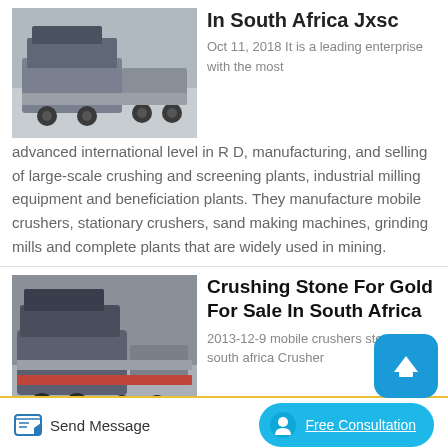[Figure (photo): Mobile crushing/screening plant on truck, industrial machinery photo]
In South Africa Jxsc
Oct 11, 2018 It is a leading enterprise with the most advanced international level in R D, manufacturing, and selling of large-scale crushing and screening plants, industrial milling equipment and beneficiation plants. They manufacture mobile crushers, stationary crushers, sand making machines, grinding mills and complete plants that are widely used in mining.
[Figure (photo): Mobile crusher machine for stone crushing for gold, South Africa]
Crushing Stone For Gold For Sale In South Africa
2013-12-9 mobile crushers stone in south africa Crusher
Send Message
Free Consultation